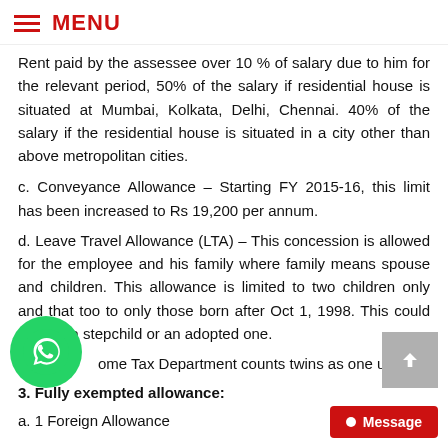MENU
Rent paid by the assessee over 10 % of salary due to him for the relevant period, 50% of the salary if residential house is situated at Mumbai, Kolkata, Delhi, Chennai. 40% of the salary if the residential house is situated in a city other than above metropolitan cities.
c. Conveyance Allowance – Starting FY 2015-16, this limit has been increased to Rs 19,200 per annum.
d. Leave Travel Allowance (LTA) – This concession is allowed for the employee and his family where family means spouse and children. This allowance is limited to two children only and that too to only those born after Oct 1, 1998. This could also be a stepchild or an adopted one.
Income Tax Department counts twins as one unit.
3. Fully exempted allowance:
a. 1 Foreign Allowance